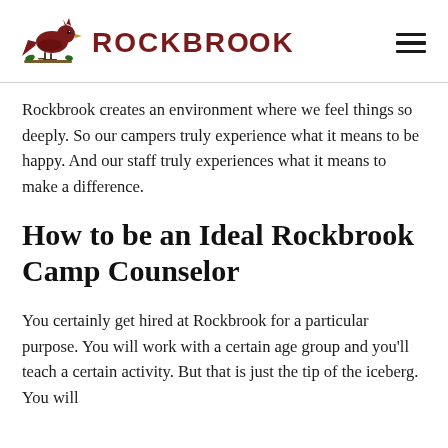ROCKBROOK
Rockbrook creates an environment where we feel things so deeply. So our campers truly experience what it means to be happy. And our staff truly experiences what it means to make a difference.
How to be an Ideal Rockbrook Camp Counselor
You certainly get hired at Rockbrook for a particular purpose. You will work with a certain age group and you'll teach a certain activity. But that is just the tip of the iceberg. You will